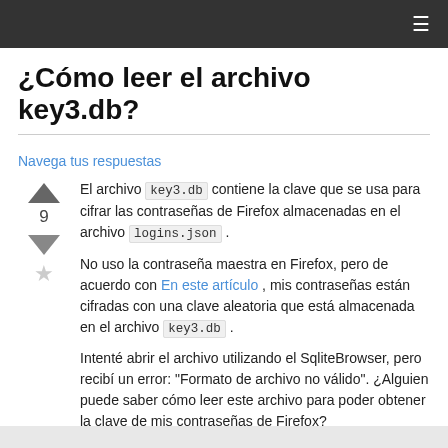¿Cómo leer el archivo key3.db?
Navega tus respuestas
El archivo key3.db contiene la clave que se usa para cifrar las contraseñas de Firefox almacenadas en el archivo logins.json .
No uso la contraseña maestra en Firefox, pero de acuerdo con En este artículo , mis contraseñas están cifradas con una clave aleatoria que está almacenada en el archivo key3.db .
Intenté abrir el archivo utilizando el SqliteBrowser, pero recibí un error: "Formato de archivo no válido". ¿Alguien puede saber cómo leer este archivo para poder obtener la clave de mis contraseñas de Firefox?